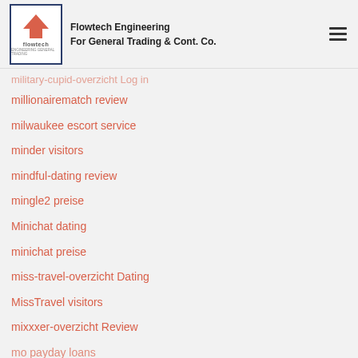Flowtech Engineering For General Trading & Cont. Co.
Military Cupid review
Cupid sign in
Cupid visitors
military-cupid-overzicht Log in
millionairematch review
milwaukee escort service
minder visitors
mindful-dating review
mingle2 preise
Minichat dating
minichat preise
miss-travel-overzicht Dating
MissTravel visitors
mixxxer-overzicht Review
mo payday loans